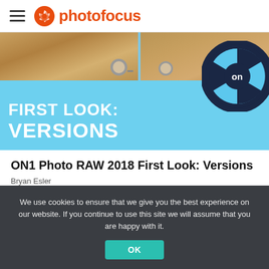photofocus
[Figure (photo): Banner image for ON1 Photo RAW 2018 First Look: Versions article. Light blue background with photos of hands wearing a watch, and the ON1 camera lens logo on the right. White bold text reads FIRST LOOK: VERSIONS.]
ON1 Photo RAW 2018 First Look: Versions
Bryan Esler
We use cookies to ensure that we give you the best experience on our website. If you continue to use this site we will assume that you are happy with it.
OK